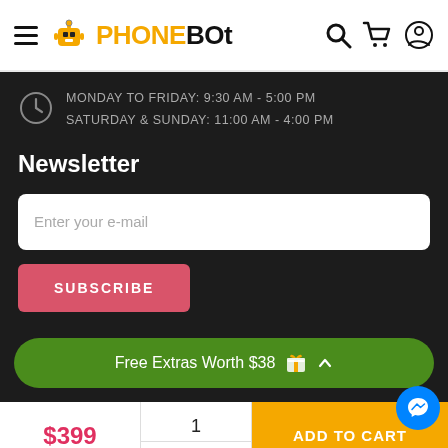[Figure (screenshot): PhoneBot website header with hamburger menu, robot logo, PHONEBOT text logo, search icon, cart icon, and user icon]
MONDAY TO FRIDAY: 9:30 AM - 5:00 PM
SATURDAY & SUNDAY: 11:00 AM - 4:00 PM
Newsletter
Enter your e-mail
SUBSCRIBE
Free Extras Worth $38
$399
1
Qty
ADD TO CART